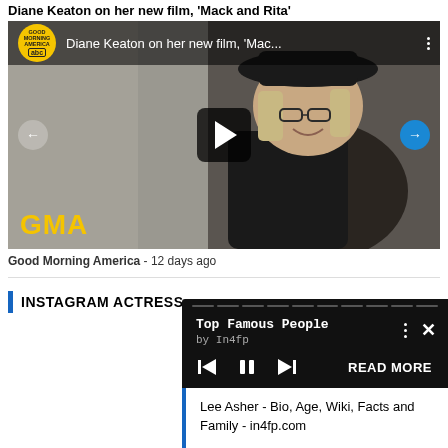Diane Keaton on her new film, 'Mack and Rita'
[Figure (screenshot): YouTube video thumbnail showing Diane Keaton on Good Morning America. Title: 'Diane Keaton on her new film, Mac...' with GMA logo badge, play button, navigation arrows, and GMA watermark in yellow.]
Good Morning America - 12 days ago
INSTAGRAM ACTRESS
[Figure (screenshot): Dark music/video player popup overlay titled 'Top Famous People' by In4fp with playback controls and a READ MORE button. Below it shows a white bar with text: 'Lee Asher - Bio, Age, Wiki, Facts and Family - in4fp.com']